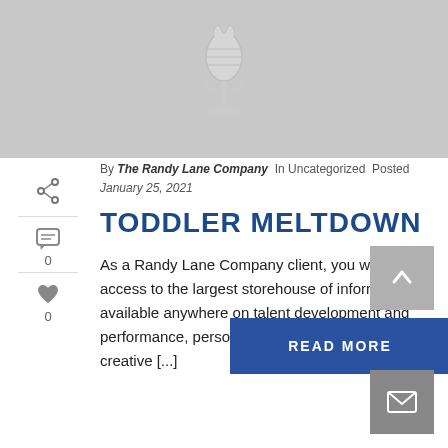[Figure (illustration): Gray background hero image with a microphone silhouette icon in silver/white]
By The Randy Lane Company In Uncategorized Posted January 25, 2021
TODDLER MELTDOWN
As a Randy Lane Company client, you will gain access to the largest storehouse of information available anywhere on talent development and performance, personality branding and the creative [...]
READ MORE
[Figure (other): Gray button with upward chevron arrow for scroll to top]
[Figure (other): Dark gray button with envelope/email icon]